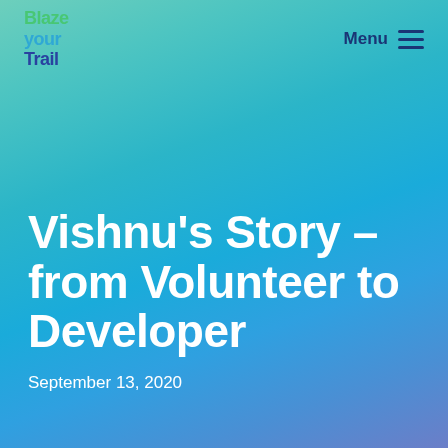[Figure (logo): Blaze Your Trail logo with stylized text in green, blue, and dark blue colors]
Menu
Vishnu's Story - from Volunteer to Developer
September 13, 2020